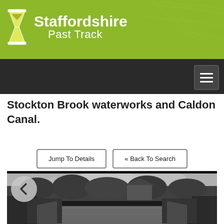[Figure (logo): Staffordshire Past Track logo with hourglass icon on olive green background with faint map lines]
Staffordshire Past Track
Stockton Brook waterworks and Caldon Canal.
Jump To Details
« Back To Search
[Figure (photo): Black and white historical photograph of a canal waterway with vegetation on both banks, trees in the background, and a building visible. A navigation back arrow is overlaid on the left side.]